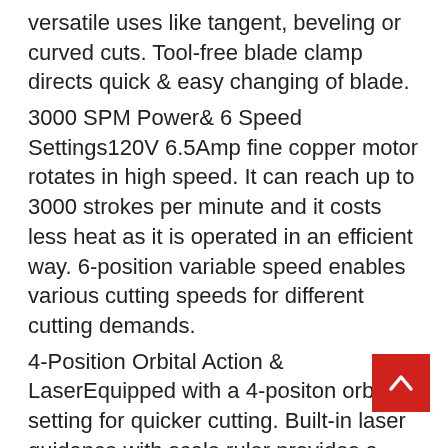versatile uses like tangent, beveling or curved cuts. Tool-free blade clamp directs quick & easy changing of blade.
3000 SPM Power& 6 Speed Settings120V 6.5Amp fine copper motor rotates in high speed. It can reach up to 3000 strokes per minute and it costs less heat as it is operated in an efficient way. 6-position variable speed enables various cutting speeds for different cutting demands.
4-Position Orbital Action & LaserEquipped with a 4-positon orbital setting for quicker cutting. Built-in laser guidance with scale ruler provides a tiptop precision for users.
LOCK-ON Switch & Dust ExtractionPress the lock button to keep the saw running without having to keep pressing the switch, thus reduce fatigue in long time cutting work and promote the work efficiency. Connecting the dust blower keeps the line of cut sawdust clean, provide you a clear line of sight.
More Accessories & WARRANTYCome with 1 x sturdy case, 1 x rip fence, 1 dust exhaust pipe, 6 x replaceable blades. TECPRO offers 2 year satisfaction warranty. If you have any